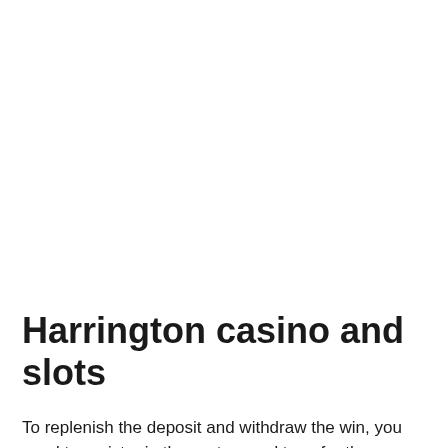Harrington casino and slots
To replenish the deposit and withdraw the win, you need to register in the system and transfer the finance from an